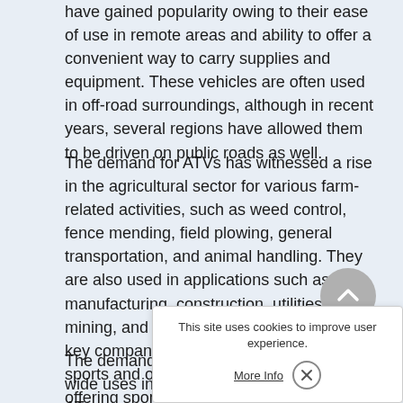have gained popularity owing to their ease of use in remote areas and ability to offer a convenient way to carry supplies and equipment. These vehicles are often used in off-road surroundings, although in recent years, several regions have allowed them to be driven on public roads as well.
The demand for ATVs has witnessed a rise in the agricultural sector for various farm-related activities, such as weed control, fence mending, field plowing, general transportation, and animal handling. They are also used in applications such as manufacturing, construction, utilities, mining, and search and rescue. Several key companies are organizing adventure sports and off-road racing events and offering sponsorships to acquire new customers and increase product visibility.
The demand for gasoline AT... owing to their wide uses in s... applications. Heavy-duty AT...